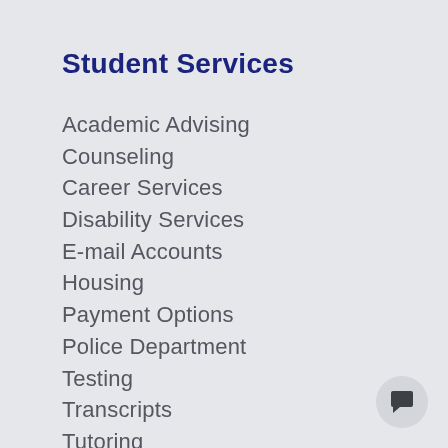Student Services
Academic Advising
Counseling
Career Services
Disability Services
E-mail Accounts
Housing
Payment Options
Police Department
Testing
Transcripts
Tutoring
Writing Studios
[Figure (illustration): Chat/comment icon button in a circular grey button at bottom right]